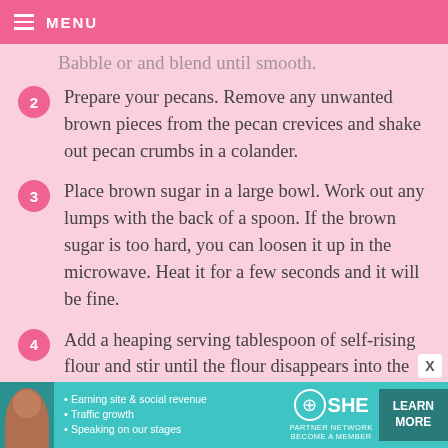MENU
Babble or and blend until smooth.
2. Prepare your pecans. Remove any unwanted brown pieces from the pecan crevices and shake out pecan crumbs in a colander.
3. Place brown sugar in a large bowl. Work out any lumps with the back of a spoon. If the brown sugar is too hard, you can loosen it up in the microwave. Heat it for a few seconds and it will be fine.
4. Add a heaping serving tablespoon of self-rising flour and stir until the flour disappears into the brown sugar.
[Figure (infographic): SHE Partner Network advertisement banner with woman photo, bullet points about earning site & social revenue, traffic growth, speaking on stages, SHE Partner Network logo, and LEARN MORE button]